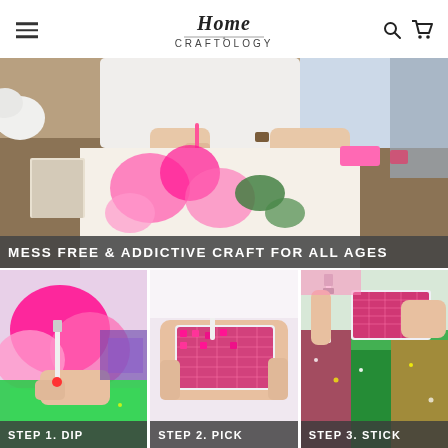Home Craftology
[Figure (photo): Woman crafting at a wooden table with diamond painting supplies, flowers in background. Banner text: MESS FREE & ADDICTIVE CRAFT FOR ALL AGES]
MESS FREE & ADDICTIVE CRAFT FOR ALL AGES
[Figure (photo): Close-up of hands doing diamond painting - Step 1. DIP]
STEP 1. DIP
[Figure (photo): Close-up of hands picking up diamonds - Step 2. PICK]
STEP 2. PICK
[Figure (photo): Close-up of hands sticking diamonds onto canvas - Step 3. STICK]
STEP 3. STICK